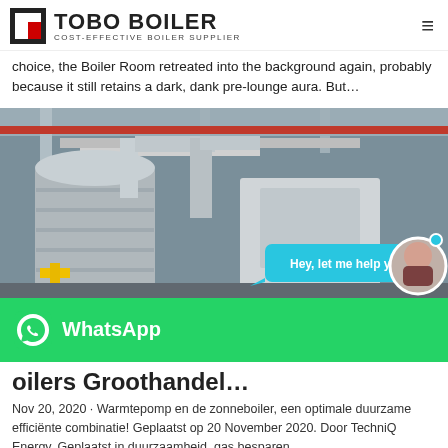TOBO BOILER — COST-EFFECTIVE BOILER SUPPLIER
choice, the Boiler Room retreated into the background again, probably because it still retains a dark, dank pre-lounge aura. But…
[Figure (photo): Industrial boiler room interior showing large stainless steel boilers and pipe systems in a factory setting. Chat overlay with 'Hey, let me help you!' bubble and assistant avatar.]
WhatsApp
oilers Groothandel…
Nov 20, 2020 · Warmtepomp en de zonneboiler, een optimale duurzame efficiënte combinatie! Geplaatst op 20 November 2020. Door TechniQ Energy. Geplaatst in duurzaamheid, gas besparen…